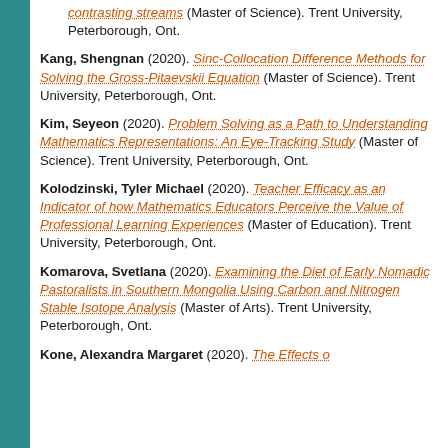contrasting streams (Master of Science). Trent University, Peterborough, Ont.
Kang, Shengnan (2020). Sinc-Collocation Difference Methods for Solving the Gross-Pitaevskii Equation (Master of Science). Trent University, Peterborough, Ont.
Kim, Seyeon (2020). Problem Solving as a Path to Understanding Mathematics Representations: An Eye-Tracking Study (Master of Science). Trent University, Peterborough, Ont.
Kolodzinski, Tyler Michael (2020). Teacher Efficacy as an Indicator of how Mathematics Educators Perceive the Value of Professional Learning Experiences (Master of Education). Trent University, Peterborough, Ont.
Komarova, Svetlana (2020). Examining the Diet of Early Nomadic Pastoralists in Southern Mongolia Using Carbon and Nitrogen Stable Isotope Analysis (Master of Arts). Trent University, Peterborough, Ont.
Kone, Alexandra Margaret (2020). The Effects of...